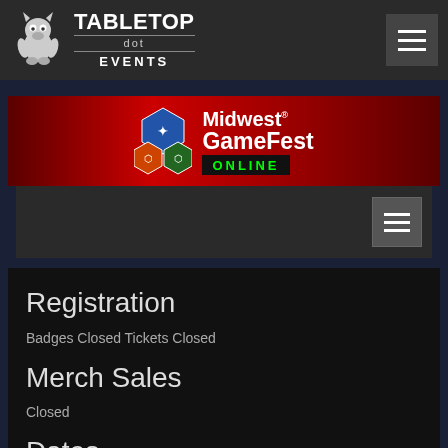[Figure (logo): Tabletop.events logo with creature mascot icon on left, bold TABLETOP text with 'dot' and EVENTS below]
[Figure (illustration): Midwest GameFest Online banner - red gradient background with hexagon icons and text]
Registration
Badges Closed Tickets Closed
Merch Sales
Closed
Dates
Thu, Mar 10 2022, 6:00pm - 6:00am
Fri, Mar 11 2022, 2:00pm - 6:00am
Sat, Mar 12 2022, ...